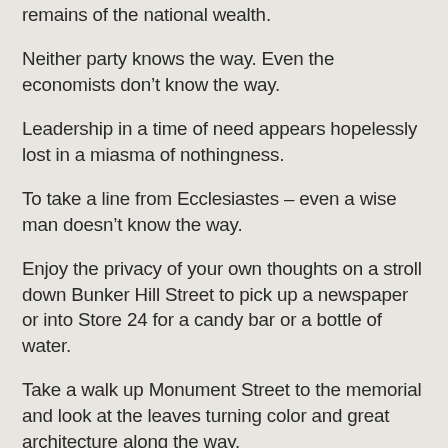remains of the national wealth.
Neither party knows the way. Even the economists don't know the way.
Leadership in a time of need appears hopelessly lost in a miasma of nothingness.
To take a line from Ecclesiastes – even a wise man doesn't know the way.
Enjoy the privacy of your own thoughts on a stroll down Bunker Hill Street to pick up a newspaper or into Store 24 for a candy bar or a bottle of water.
Take a walk up Monument Street to the memorial and look at the leaves turning color and great architecture along the way.
Dream big things and small. Delight in the warmth of